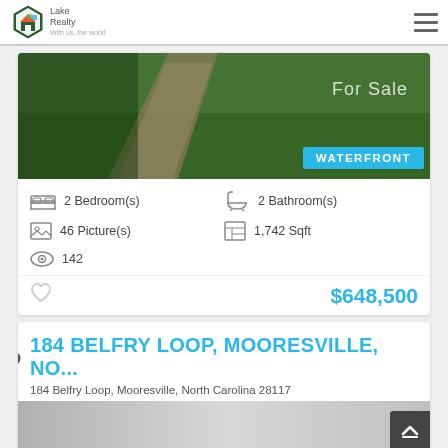[Figure (logo): Lake Realty hexagon logo with colored house graphic]
[Figure (photo): Aerial photo of green lawn with stone pathway, For Sale text overlay and WATERFRONT badge]
2 Bedroom(s)
2 Bathroom(s)
46 Picture(s)
1,742 Sqft
142
$648,500
184 BELFRY LOOP, MOORESVILLE, NO...
184 Belfry Loop, Mooresville, North Carolina 28117
[Figure (photo): Gray gradient photo of property exterior, partially visible]